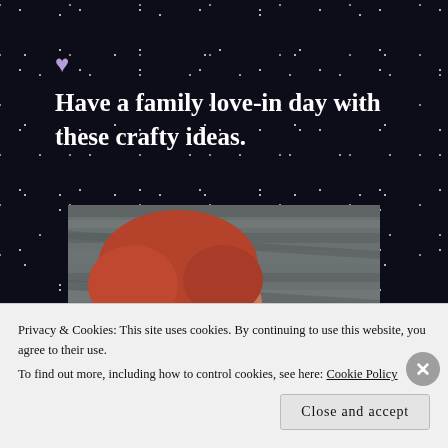❤ Have a family love-in day with these crafty ideas.
[Figure (photo): A baby/toddler with red hair wearing a plaid bow tie and grey pants with red heart patches, photographed from above on a wooden floor surface.]
Privacy & Cookies: This site uses cookies. By continuing to use this website, you agree to their use.
To find out more, including how to control cookies, see here: Cookie Policy
Close and accept